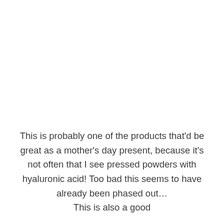This is probably one of the products that'd be great as a mother's day present, because it's not often that I see pressed powders with hyaluronic acid! Too bad this seems to have already been phased out… This is also a good...